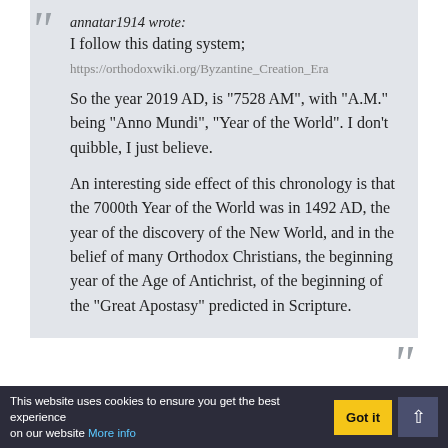annatar1914 wrote: I follow this dating system;
https://orthodoxwiki.org/Byzantine_Creation_Era
So the year 2019 AD, is "7528 AM", with "A.M." being "Anno Mundi", "Year of the World". I don't quibble, I just believe.
An interesting side effect of this chronology is that the 7000th Year of the World was in 1492 AD, the year of the discovery of the New World, and in the belief of many Orthodox Christians, the beginning year of the Age of Antichrist, of the beginning of the "Great Apostasy" predicted in Scripture.
Thanks for that reference. I was not aware of it.
Praise the Lord.
This website uses cookies to ensure you get the best experience on our website More info